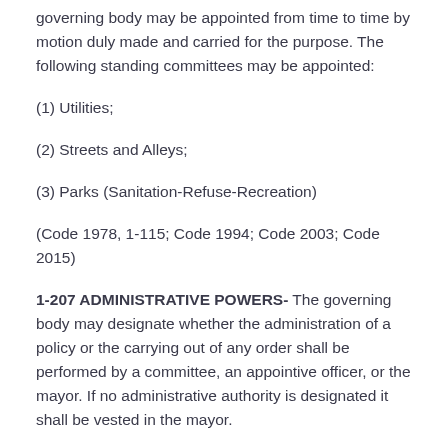governing body may be appointed from time to time by motion duly made and carried for the purpose. The following standing committees may be appointed:
(1) Utilities;
(2) Streets and Alleys;
(3) Parks (Sanitation-Refuse-Recreation)
(Code 1978, 1-115; Code 1994; Code 2003; Code 2015)
1-207 ADMINISTRATIVE POWERS- The governing body may designate whether the administration of a policy or the carrying out of any order shall be performed by a committee, an appointive officer, or the mayor. If no administrative authority is designated it shall be vested in the mayor.